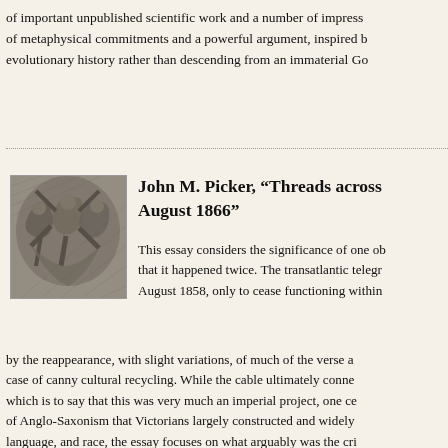of important unpublished scientific work and a number of impress of metaphysical commitments and a powerful argument, inspired b evolutionary history rather than descending from an immaterial Go
[Figure (illustration): A black and white engraving or etching depicting multiple human figures in dramatic poses, possibly mythological or allegorical in nature.]
John M. Picker, “Threads across August 1866”
This essay considers the significance of one ob that it happened twice. The transatlantic telegr August 1858, only to cease functioning within by the reappearance, with slight variations, of much of the verse a case of canny cultural recycling. While the cable ultimately conne which is to say that this was very much an imperial project, one ce of Anglo-Saxonism that Victorians largely constructed and widely language, and race, the essay focuses on what arguably was the cri in the specific literary case of Henry James, how the concept of ins it extended.